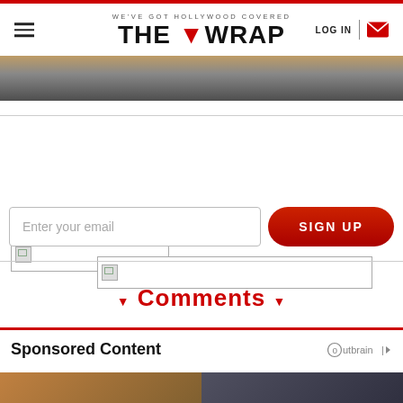WE'VE GOT HOLLYWOOD COVERED — THE WRAP | LOG IN
[Figure (photo): Top hero image strip showing colorful artistic/craft imagery]
[Figure (other): Two advertisement placeholder image boxes]
Enter your email
SIGN UP
▼ Comments ▼
Sponsored Content
[Figure (logo): Outbrain logo]
[Figure (photo): Bottom sponsored content thumbnail images]